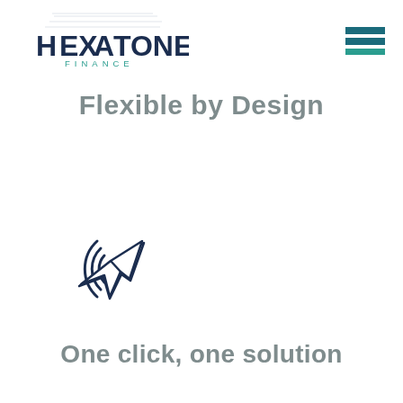[Figure (logo): Hexatone Finance logo with stylized geometric lines above the company name]
[Figure (other): Hamburger menu icon with three horizontal teal/dark navy bars]
Flexible by Design
[Figure (illustration): Click/touch icon: concentric arc lines on the left with a cursor arrow pointing upper-right, drawn in dark navy outline style]
One click, one solution